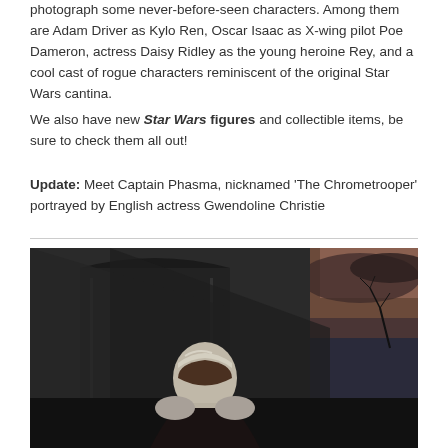photograph some never-before-seen characters. Among them are Adam Driver as Kylo Ren, Oscar Isaac as X-wing pilot Poe Dameron, actress Daisy Ridley as the young heroine Rey, and a cool cast of rogue characters reminiscent of the original Star Wars cantina.
We also have new Star Wars figures and collectible items, be sure to check them all out!
Update: Meet Captain Phasma, nicknamed ‘The Chrometrooper’ portrayed by English actress Gwendoline Christie
[Figure (photo): Captain Phasma in chrome stormtrooper armor with dark cape standing in front of ruined stone building with dramatic sky in background]